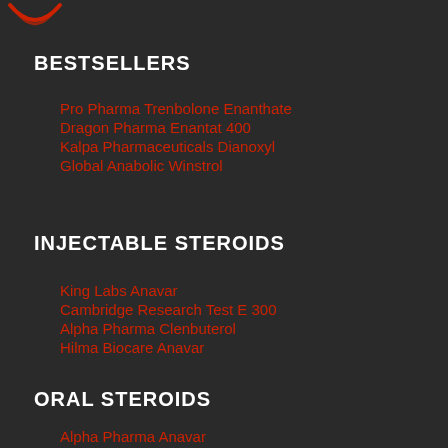[Figure (logo): Red logo/icon in top left corner]
BESTSELLERS
Pro Pharma Trenbolone Enanthate
Dragon Pharma Enantat 400
Kalpa Pharmaceuticals Dianoxyl
Global Anabolic Winstrol
INJECTABLE STEROIDS
King Labs Anavar
Cambridge Research Test E 300
Alpha Pharma Clenbuterol
Hilma Biocare Anavar
ORAL STEROIDS
Alpha Pharma Anavar